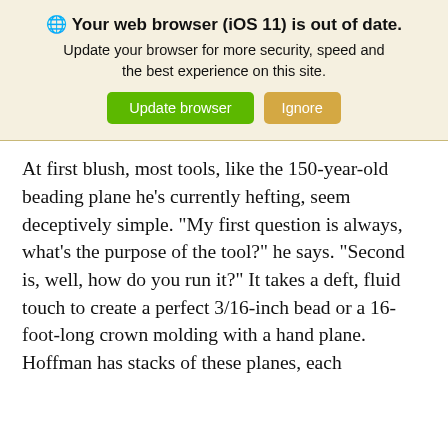[Figure (screenshot): Browser update warning banner with globe icon, message about iOS 11 browser being out of date, and two buttons: 'Update browser' (green) and 'Ignore' (tan/gold).]
At first blush, most tools, like the 150-year-old beading plane he’s currently hefting, seem deceptively simple. “My first question is always, what’s the purpose of the tool?” he says. “Second is, well, how do you run it?” It takes a deft, fluid touch to create a perfect 3/16-inch bead or a 16-foot-long crown molding with a hand plane. Hoffman has stacks of these planes, each